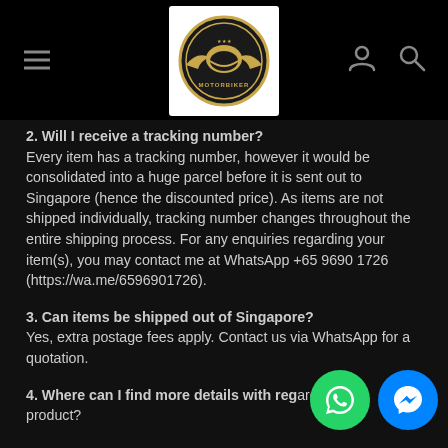Motorbiker shop header with hamburger menu, logo, user and search icons
2. Will I receive a tracking number?
Every item has a tracking number, however it would be consolidated into a huge parcel before it is sent out to Singapore (hence the discounted price). As items are not shipped individually, tracking number changes throughout the entire shipping process. For any enquiries regarding your item(s), you may contact me at WhatsApp +65 9690 1726 (https://wa.me/6596901726).
3. Can items be shipped out of Singapore?
Yes, extra postage fees apply. Contact us via WhatsApp for a quotation.
4. Where can I find more details with regards to the product?